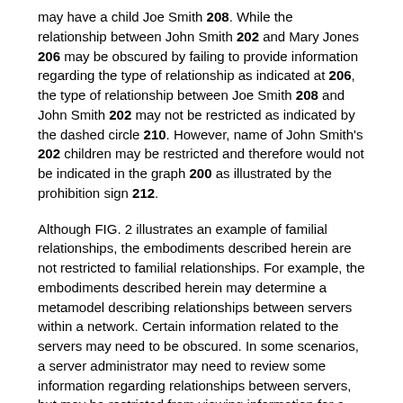may have a child Joe Smith 208. While the relationship between John Smith 202 and Mary Jones 206 may be obscured by failing to provide information regarding the type of relationship as indicated at 206, the type of relationship between Joe Smith 208 and John Smith 202 may not be restricted as indicated by the dashed circle 210. However, name of John Smith's 202 children may be restricted and therefore would not be indicated in the graph 200 as illustrated by the prohibition sign 212.
Although FIG. 2 illustrates an example of familial relationships, the embodiments described herein are not restricted to familial relationships. For example, the embodiments described herein may determine a metamodel describing relationships between servers within a network. Certain information related to the servers may need to be obscured. In some scenarios, a server administrator may need to review some information regarding relationships between servers, but may be restricted from viewing information for a given server, such as a server name, or the types of data that may be provided to a given server from another server indicated in the metamodel.